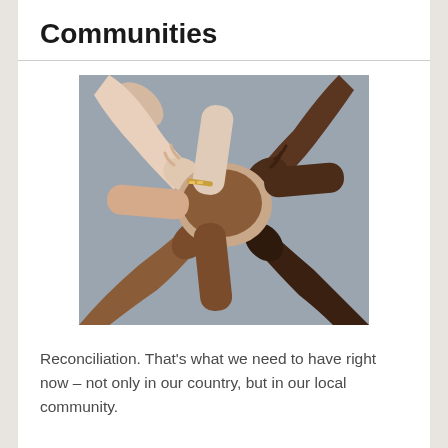Communities
[Figure (photo): Four hands of different skin tones grasping each other's wrists in a circle, symbolizing unity and solidarity, against a gray background.]
Reconciliation. That's what we need to have right now – not only in our country, but in our local community.